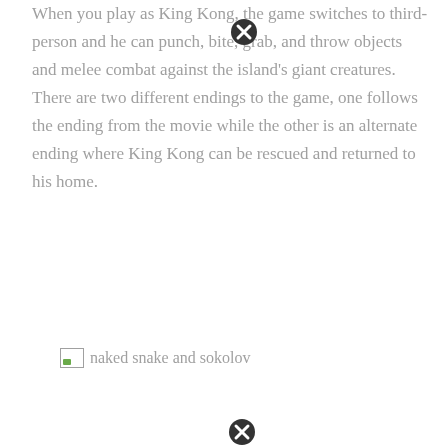When you play as King Kong, the game switches to third-person and he can punch, bite, grab, and throw objects and melee combat against the island's giant creatures. There are two different endings to the game, one follows the ending from the movie while the other is an alternate ending where King Kong can be rescued and returned to his home.
[Figure (photo): Broken image placeholder with alt text 'naked snake and sokolov']